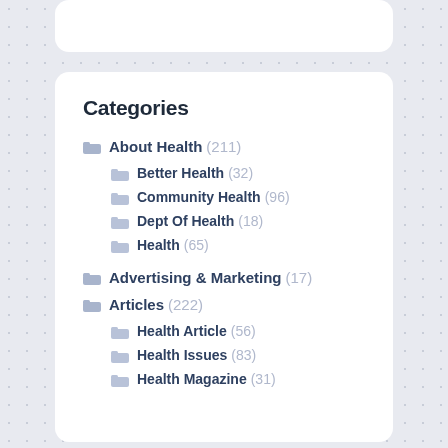Categories
About Health (211)
Better Health (32)
Community Health (96)
Dept Of Health (18)
Health (65)
Advertising & Marketing (17)
Articles (222)
Health Article (56)
Health Issues (83)
Health Magazine (31)